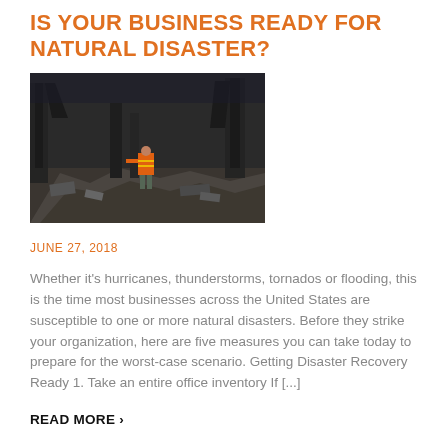IS YOUR BUSINESS READY FOR NATURAL DISASTER?
[Figure (photo): A rescue worker in an orange high-visibility vest walking through rubble of a destroyed building after a natural disaster]
JUNE 27, 2018
Whether it's hurricanes, thunderstorms, tornados or flooding, this is the time most businesses across the United States are susceptible to one or more natural disasters. Before they strike your organization, here are five measures you can take today to prepare for the worst-case scenario. Getting Disaster Recovery Ready 1. Take an entire office inventory If [...]
READ MORE >